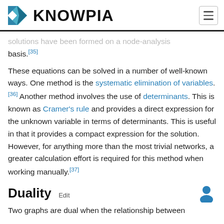KNOWPIA
solutions have been formed on a node-analysis basis.[35]
These equations can be solved in a number of well-known ways. One method is the systematic elimination of variables.[36] Another method involves the use of determinants. This is known as Cramer's rule and provides a direct expression for the unknown variable in terms of determinants. This is useful in that it provides a compact expression for the solution. However, for anything more than the most trivial networks, a greater calculation effort is required for this method when working manually.[37]
Duality Edit
Two graphs are dual when the relationship between